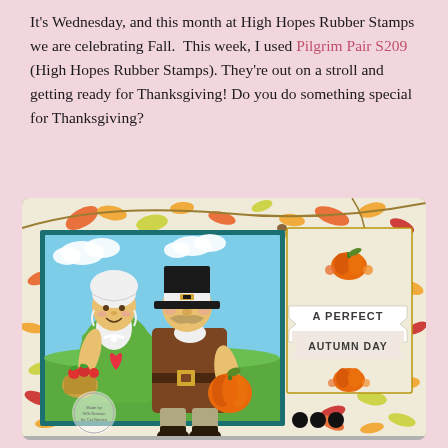It's Wednesday, and this month at High Hopes Rubber Stamps we are celebrating Fall. This week, I used Pilgrim Pair S209 (High Hopes Rubber Stamps). They're out on a stroll and getting ready for Thanksgiving! Do you do something special for Thanksgiving?
[Figure (photo): A handmade greeting card featuring two cartoon pilgrim characters — a female pilgrim in a white bonnet and green dress holding a basket of apples, and a male pilgrim in a black hat holding a pumpkin. The card has autumn leaf patterned paper background and a label reading 'A PERFECT AUTUMN DAY'. A round watermark/logo is visible in the lower left of the card.]